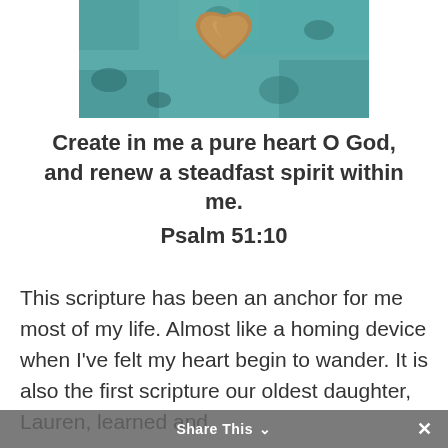[Figure (photo): Close-up photo of a heart-shaped stone or rock on a teal/turquoise painted surface, partially cropped at top]
Create in me a pure heart O God, and renew a steadfast spirit within me.
Psalm 51:10
This scripture has been an anchor for me most of my life. Almost like a homing device when I've felt my heart begin to wander. It is also the first scripture our oldest daughter, Lauren, learned and
Share This